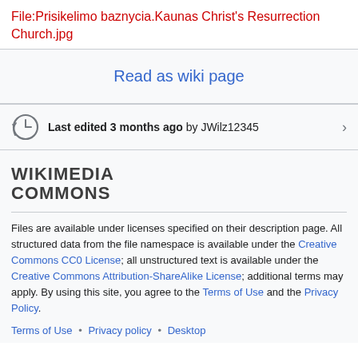File:Prisikelimo baznycia.Kaunas Christ's Resurrection Church.jpg
Read as wiki page
Last edited 3 months ago by JWilz12345
WIKIMEDIA COMMONS
Files are available under licenses specified on their description page. All structured data from the file namespace is available under the Creative Commons CC0 License; all unstructured text is available under the Creative Commons Attribution-ShareAlike License; additional terms may apply. By using this site, you agree to the Terms of Use and the Privacy Policy.
Terms of Use • Privacy policy • Desktop